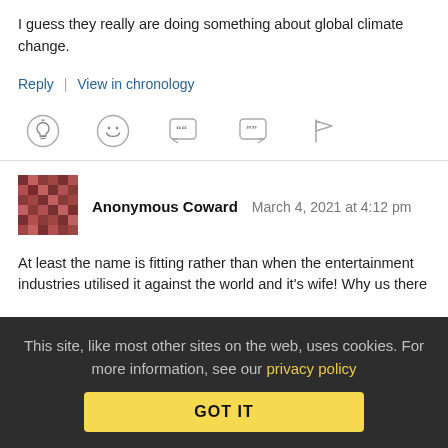I guess they really are doing something about global climate change.
Reply | View in chronology
[Figure (infographic): Row of five icon buttons: lightbulb (insightful), laughing face (funny), speech bubble with open-quote (quote), speech bubble with close-quote (report quote), flag (report)]
[Figure (illustration): Anonymous Coward avatar - brown/red mosaic pixel pattern square]
Anonymous Coward   March 4, 2021 at 4:12 pm
At least the name is fitting rather than when the entertainment industries utilised it against the world and it's wife! Why us there
This site, like most other sites on the web, uses cookies. For more information, see our privacy policy
GOT IT